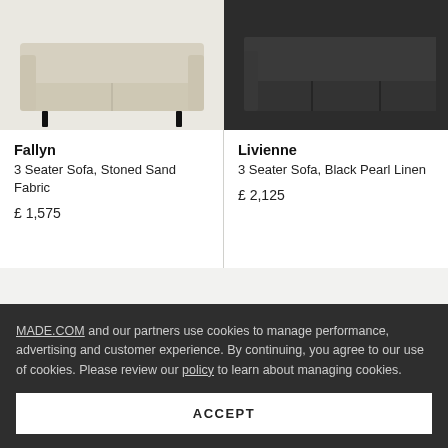[Figure (photo): Fallyn 3 Seater Sofa in Stoned Sand Fabric — light beige sofa on black legs, front view, partial crop at top]
Fallyn
3 Seater Sofa, Stoned Sand Fabric
£ 1,575
[Figure (photo): Livienne 3 Seater Sofa in Black Pearl Linen — dark charcoal/black sofa, front view, partial crop at top]
Livienne
3 Seater Sofa, Black Pearl Linen
£ 2,125
MADE.COM and our partners use cookies to manage performance, advertising and customer experience. By continuing, you agree to our use of cookies. Please review our policy to learn about managing cookies.
ACCEPT